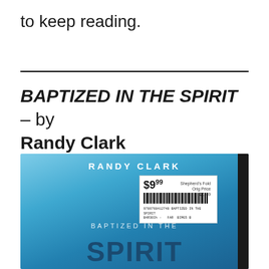to keep reading.
BAPTIZED IN THE SPIRIT – by Randy Clark
[Figure (photo): Photo of the book 'Baptized in the Spirit' by Randy Clark. The book cover is light blue with the author name 'RANDY CLARK' in white letters at the top and 'BAPTIZED IN THE SPIRIT' text below. A price sticker is visible showing $9.99 with 'Shepherd's Fold / Orig Price $21.49' and a barcode reading '9780768412748 BAPTIZED IN THE SPIRIT / B4R30Ih - FAR BIMG5 B'. The right edge of the book shows a dark spine.]